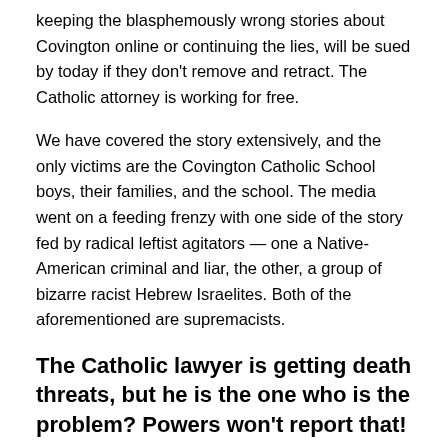keeping the blasphemously wrong stories about Covington online or continuing the lies, will be sued by today if they don't remove and retract. The Catholic attorney is working for free.
We have covered the story extensively, and the only victims are the Covington Catholic School boys, their families, and the school. The media went on a feeding frenzy with one side of the story fed by radical leftist agitators — one a Native-American criminal and liar, the other, a group of bizarre racist Hebrew Israelites. Both of the aforementioned are supremacists.
The Catholic lawyer is getting death threats, but he is the one who is the problem? Powers won't report that!
Rob Barnes, an accomplished lawyer, offered to represent the kids for free. He gave the offenders — mostly the lying media